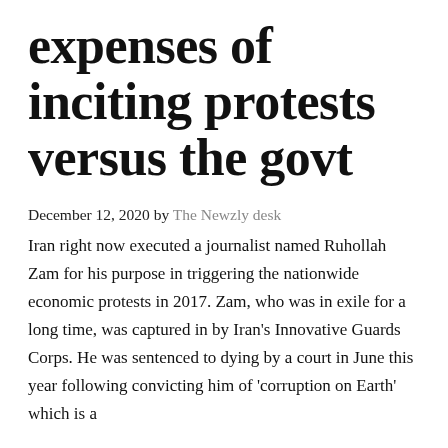expenses of inciting protests versus the govt
December 12, 2020 by The Newzly desk
Iran right now executed a journalist named Ruhollah Zam for his purpose in triggering the nationwide economic protests in 2017. Zam, who was in exile for a long time, was captured in by Iran's Innovative Guards Corps. He was sentenced to dying by a court in June this year following convicting him of 'corruption on Earth' which is a